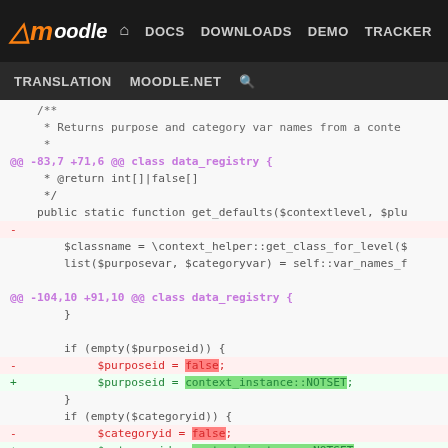[Figure (screenshot): Moodle developer documentation website navigation bar with logo, nav links (DOCS, DOWNLOADS, DEMO, TRACKER, DEV), and sub-nav (TRANSLATION, MOODLE.NET, search icon)]
Code diff showing changes to data_registry class in PHP. Includes two hunks: @@ -83,7 +71,6 @@ and @@ -104,10 +91,10 @@. Shows removal of blank line, and replacement of 'false' with 'context_instance::NOTSET' for $purposeid and $categoryid variables.